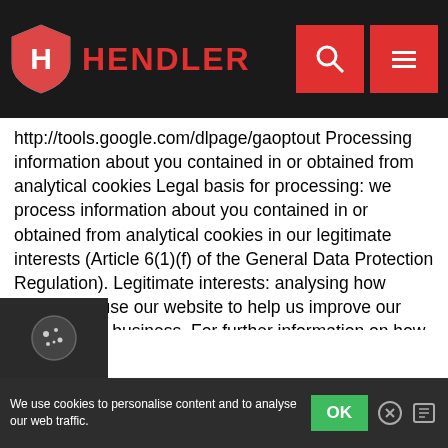[Figure (logo): Hendler website header with shield logo, HENDLER text in red, search icon and menu icon on dark background]
http://tools.google.com/dlpage/gaoptout Processing information about you contained in or obtained from analytical cookies Legal basis for processing: we process information about you contained in or obtained from analytical cookies in our legitimate interests (Article 6(1)(f) of the General Data Protection Regulation). Legitimate interests: analysing how individuals use our website to help us improve our website and business. For further information on how we use the information gathered from our use of analytical cookies, including profiling, please see the section entitled Our use of automated decision making and profiling in our privacy policy, which is available here: http://www.Hendler.co.uk/privacy-policy
[Figure (other): Cookie consent widget icon (dark background with cookie icon)]
We use cookies to personalise content and to analyse our web traffic.